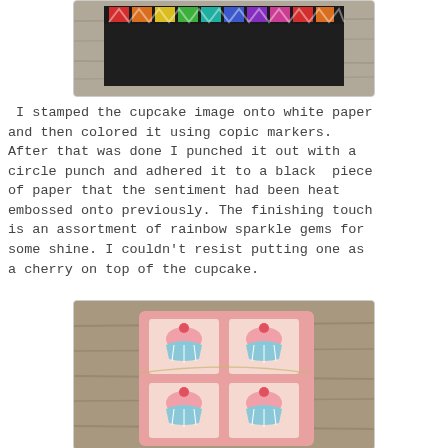[Figure (photo): Photo of a craft project on a wooden surface showing a colorful chevron/zigzag patterned strip with rainbow colors on a dark background, placed on a gray wood board.]
I stamped the cupcake image onto white paper and then colored it using copic markers. After that was done I punched it out with a circle punch and adhered it to a black  piece of paper that the sentiment had been heat embossed onto previously. The finishing touch is an assortment of rainbow sparkle gems for some shine. I couldn't resist putting one as a cherry on top of the cupcake.
[Figure (photo): Photo of a pink card/frame with multiple square windows showing cupcake illustrations with pink frosting and teal/blue striped cups, placed on a gray wooden surface.]